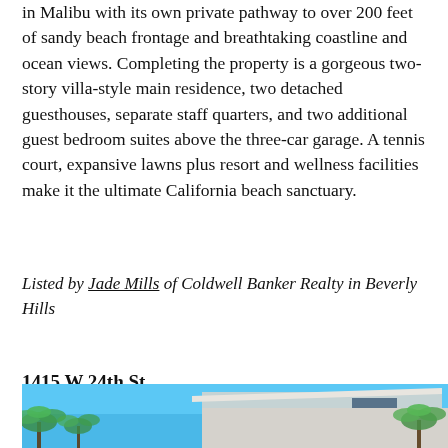in Malibu with its own private pathway to over 200 feet of sandy beach frontage and breathtaking coastline and ocean views. Completing the property is a gorgeous two-story villa-style main residence, two detached guesthouses, separate staff quarters, and two additional guest bedroom suites above the three-car garage. A tennis court, expansive lawns plus resort and wellness facilities make it the ultimate California beach sanctuary.
Listed by Jade Mills of Coldwell Banker Realty in Beverly Hills
1415 W 24th St
Miami Beach, FL.
$ 25,000,000
[Figure (photo): Exterior photo of a modern luxury home in Miami Beach with bright blue sky, white concrete roofline, and palm trees]